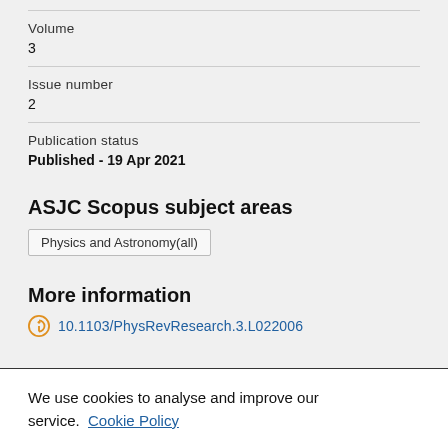Volume
3
Issue number
2
Publication status
Published - 19 Apr 2021
ASJC Scopus subject areas
Physics and Astronomy(all)
More information
10.1103/PhysRevResearch.3.L022006
We use cookies to analyse and improve our service. Cookie Policy